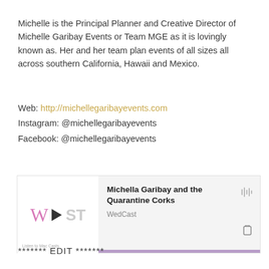Michelle is the Principal Planner and Creative Director of Michelle Garibay Events or Team MGE as it is lovingly known as. Her and her team plan events of all sizes all across southern California, Hawaii and Mexico.
Web: http://michellegaribayevents.com
Instagram: @michellegaribayevents
Facebook: @michellegaribayevents
[Figure (screenshot): Podcast player card showing 'Michella Garibay and the Quarantine Corks' on WedCast, with a play button, waveform icon, share icon, and purple progress bar at the bottom.]
******* EDIT *******